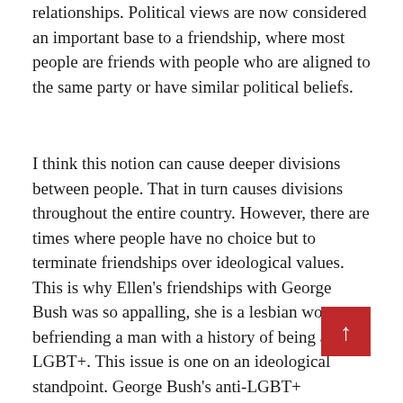relationships. Political views are now considered an important base to a friendship, where most people are friends with people who are aligned to the same party or have similar political beliefs.
I think this notion can cause deeper divisions between people. That in turn causes divisions throughout the entire country. However, there are times where people have no choice but to terminate friendships over ideological values. This is why Ellen's friendships with George Bush was so appalling, she is a lesbian woman befriending a man with a history of being anti-LGBT+. This issue is one on an ideological standpoint. George Bush's anti-LGBT+ viewpoints are a direct attack to a major identity factor in Ellen's life. That is why the fact that she has defended this friendship comes as a huge surprise.